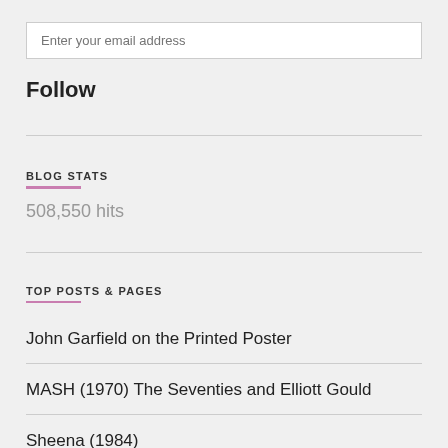Enter your email address
Follow
BLOG STATS
508,550 hits
TOP POSTS & PAGES
John Garfield on the Printed Poster
MASH (1970) The Seventies and Elliott Gould
Sheena (1984)